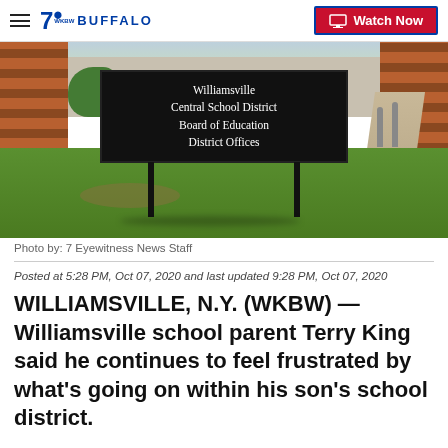7 BUFFALO | Watch Now
[Figure (photo): Outdoor photo of Williamsville Central School District Board of Education District Offices sign in front of a brick building with green grass lawn]
Photo by: 7 Eyewitness News Staff
Posted at 5:28 PM, Oct 07, 2020 and last updated 9:28 PM, Oct 07, 2020
WILLIAMSVILLE, N.Y. (WKBW) — Williamsville school parent Terry King said he continues to feel frustrated by what's going on within his son's school district.